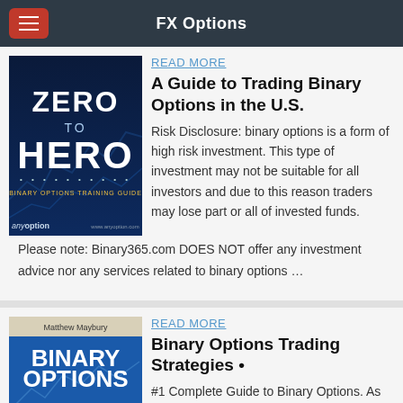FX Options
[Figure (illustration): Book cover: Zero to Hero - Binary Options Training Guide, anyoption]
READ MORE
A Guide to Trading Binary Options in the U.S.
Risk Disclosure: binary options is a form of high risk investment. This type of investment may not be suitable for all investors and due to this reason traders may lose part or all of invested funds.
Please note: Binary365.com DOES NOT offer any investment advice nor any services related to binary options …
[Figure (illustration): Book cover: Binary Options - A Beginners Guide by Matthew Maybury]
READ MORE
Binary Options Trading Strategies •
#1 Complete Guide to Binary Options. As